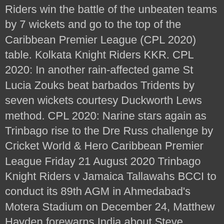Riders win the battle of the unbeaten teams by 7 wickets and go to the top of the Caribbean Premier League (CPL 2020) table. Kolkata Knight Riders KKR. CPL 2020: In another rain-affected game St Lucia Zouks beat barbados Tridents by seven wickets courtesy Duckworth Lews method. CPL 2020: Narine stars again as Trinbago rise to the Dre Russ challenge by Cricket World & Hero Caribbean Premier League Friday 21 August 2020 Trinbago Knight Riders v Jamaica Tallawahs BCCI to conduct its 89th AGM in Ahmedabad's Motera Stadium on December 24, Matthew Hayden forewarns India about Steve Smith's form ahead of the 4-match Test series, Suresh Raina to play for Uttar Pradesh in Syed Mushtaq Ali Trophy, IPL: Tom Moody returns to Hyderabad as Director of Cricket, 2016 champions confirm, Don't get carried away with pace-friendly wickets in Australia: Kapil Dev to Indian bowlers, Mushfiqur Rahim fined 25% of match fee for nearly hitting team-mate during a T20 match, IPL players earning millions, WC blind cricketers in extreme poverty: Sukhram Manjhi, PM Modi-Virat Kohli's unmissable chat: WATCH them talk Food